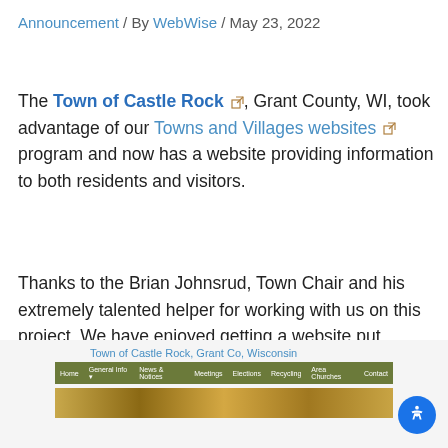Announcement / By WebWise / May 23, 2022
The Town of Castle Rock, Grant County, WI, took advantage of our Towns and Villages websites program and now has a website providing information to both residents and visitors.
Thanks to the Brian Johnsrud, Town Chair and his extremely talented helper for working with us on this project. We have enjoyed getting a website put together for Castle Rock township.
[Figure (screenshot): Screenshot of the Town of Castle Rock, Grant Co, Wisconsin website showing a green navigation bar with menu items: Home, General Info, News & Notices, Meetings, Elections, Recycling, Area Churches, Contact, followed by a landscape image bar.]